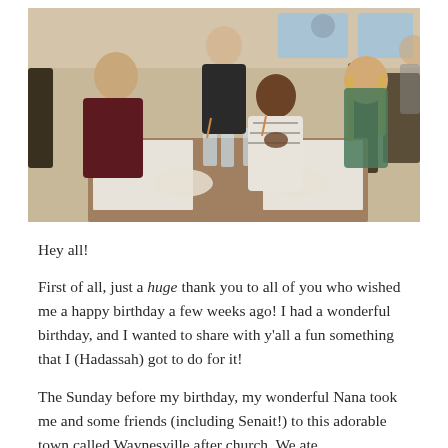[Figure (photo): Four girls sitting around a restaurant table, smiling at the camera. The restaurant has wooden chairs, tables with white paper, and glasses of water. One girl stands in the back wearing black, one sits on the left in dark red, one in the center-right wearing a white and black patterned top leaning on her hand, and one on the right with long blonde hair.]
Hey all!
First of all, just a huge thank you to all of you who wished me a happy birthday a few weeks ago! I had a wonderful birthday, and I wanted to share with y'all a fun something that I (Hadassah) got to do for it!
The Sunday before my birthday, my wonderful Nana took me and some friends (including Senait!) to this adorable town called Waynesville after church. We ate